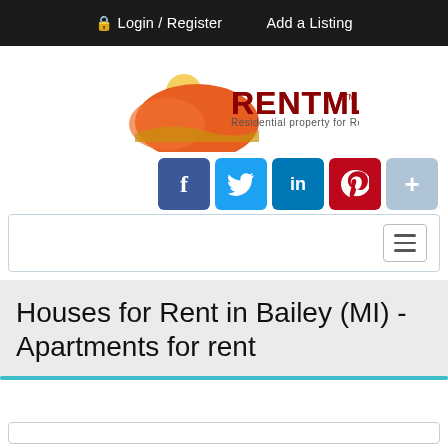Login / Register   Add a Listing
[Figure (logo): RENTMLS logo with orange sun/landscape graphic and text 'RENTMLS Residential property for Rent']
[Figure (infographic): Social sharing buttons: Facebook, Twitter, LinkedIn, Pinterest, plus button]
[Figure (screenshot): Navigation/search bar with hamburger menu icon]
Houses for Rent in Bailey (MI) - Apartments for rent